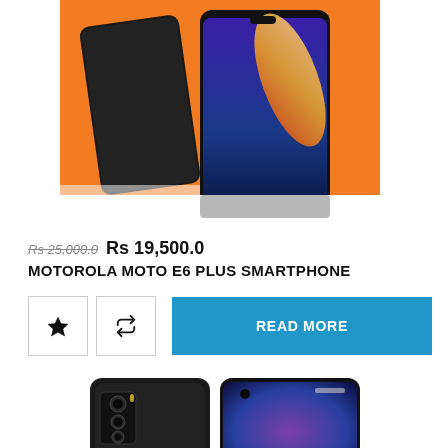[Figure (photo): Motorola Moto E6 Plus smartphone product photo on orange background, showing front and back of device]
Rs 25,000.0 Rs 19,500.0
MOTOROLA MOTO E6 PLUS SMARTPHONE
[Figure (illustration): Favorite (star) icon button and retweet/compare icon button]
READ MORE
[Figure (photo): Second smartphone product photo (black phone with multiple cameras) on dark background]